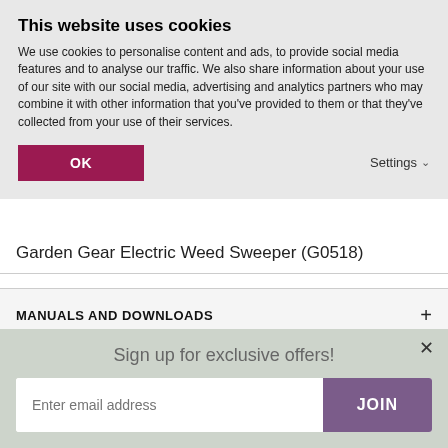This website uses cookies
We use cookies to personalise content and ads, to provide social media features and to analyse our traffic. We also share information about your use of our site with our social media, advertising and analytics partners who may combine it with other information that you've provided to them or that they've collected from your use of their services.
OK
Settings
Garden Gear Electric Weed Sweeper (G0518)
MANUALS AND DOWNLOADS
DELIVERY
Sign up for exclusive offers!
Enter email address
JOIN